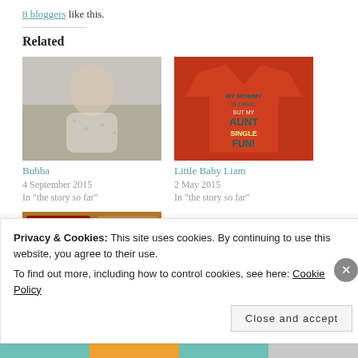8 bloggers like this.
Related
[Figure (photo): Baby in white patterned onesie lying/sitting on light background]
Bubba
4 September 2015
In "the story so far"
[Figure (photo): Orange baby onesie with text: MY MOMMY IS TIRED BUT MY AUNT NEVER STOPS FUN!]
Little Baby Liam
2 May 2015
In "the story so far"
[Figure (photo): Partial view of passport and woven material]
Privacy & Cookies: This site uses cookies. By continuing to use this website, you agree to their use.
To find out more, including how to control cookies, see here: Cookie Policy
Close and accept